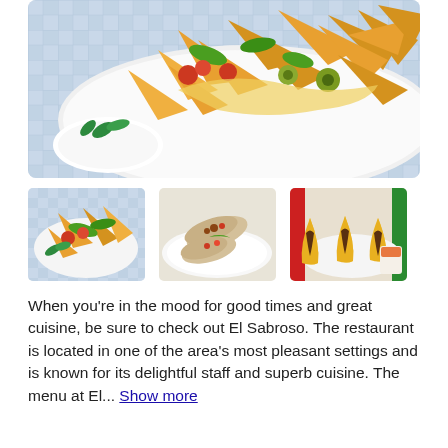[Figure (photo): Large photo of nachos with toppings: tortilla chips, jalapeños, olives, tomatoes, melted cheese, sour cream and mint leaves on a white plate with blue checked tablecloth background]
[Figure (photo): Small thumbnail photo of nachos with vegetables on a white plate]
[Figure (photo): Small thumbnail photo of burritos/wraps with fillings on a white plate]
[Figure (photo): Small thumbnail photo of tacos in yellow shells with meat filling and a dipping sauce]
When you're in the mood for good times and great cuisine, be sure to check out El Sabroso. The restaurant is located in one of the area's most pleasant settings and is known for its delightful staff and superb cuisine. The menu at El... Show more